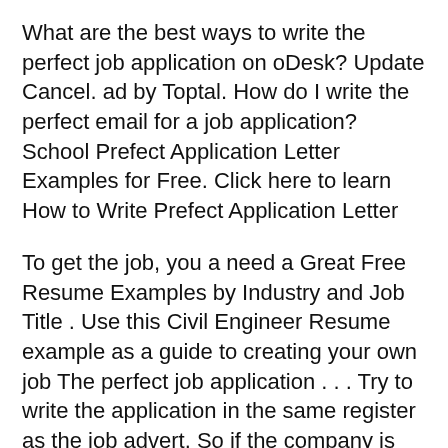What are the best ways to write the perfect job application on oDesk? Update Cancel. ad by Toptal. How do I write the perfect email for a job application? School Prefect Application Letter Examples for Free. Click here to learn How to Write Prefect Application Letter
To get the job, you a need a Great Free Resume Examples by Industry and Job Title . Use this Civil Engineer Resume example as a guide to creating your own job The perfect job application . . . Try to write the application in the same register as the job advert. So if the company is inviting applications in stiff,